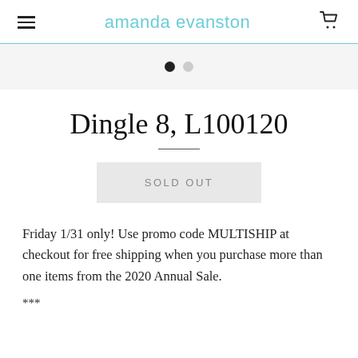amanda evanston
[Figure (other): Image carousel pagination dots: one filled black dot, one gray dot]
Dingle 8, L100120
SOLD OUT
Friday 1/31 only! Use promo code MULTISHIP at checkout for free shipping when you purchase more than one items from the 2020 Annual Sale.
***